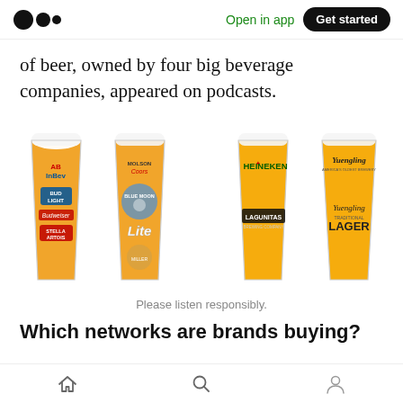Medium logo | Open in app | Get started
of beer, owned by four big beverage companies, appeared on podcasts.
[Figure (illustration): Four beer glasses each branded with a major beverage company: AB InBev (with Bud Light, Budweiser, Stella Artois logos), Molson Coors (with Blue Moon, Lite logos), Heineken (with Lagunitas logo), and Yuengling (with Yuengling Traditional Lager logo). Caption: Please listen responsibly.]
Please listen responsibly.
Which networks are brands buying?
Home | Search | Profile